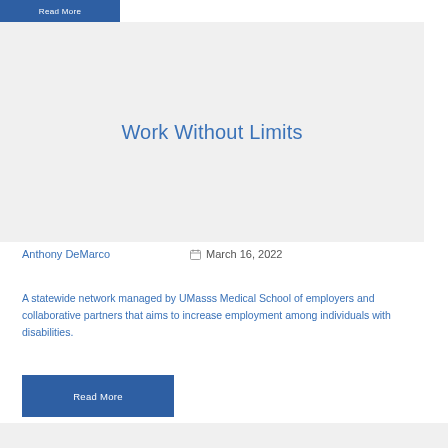Read More
[Figure (illustration): Gray card/placeholder image area with centered text 'Work Without Limits']
Work Without Limits
Anthony DeMarco
March 16, 2022
A statewide network managed by UMasss Medical School of employers and collaborative partners that aims to increase employment among individuals with disabilities.
Read More